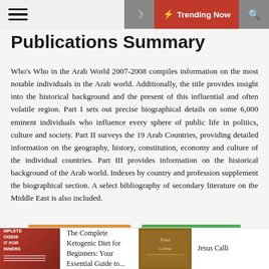Publications Summary — Trending Now
Publications Summary
Who's Who in the Arab World 2007-2008 compiles information on the most notable individuals in the Arab world. Additionally, the title provides insight into the historical background and the present of this influential and often volatile region. Part I sets out precise biographical details on some 6,000 eminent individuals who influence every sphere of public life in politics, culture and society. Part II surveys the 19 Arab Countries, providing detailed information on the geography, history, constitution, economy and culture of the individual countries. Part III provides information on the historical background of the Arab world. Indexes by country and profession supplement the biographical section. A select bibliography of secondary literature on the Middle East is also included.
AMAZON BOOKS
GO TO LIBRARY
The Complete Ketogenic Diet for Beginners: Your Essential Guide to...
Jesus Calli